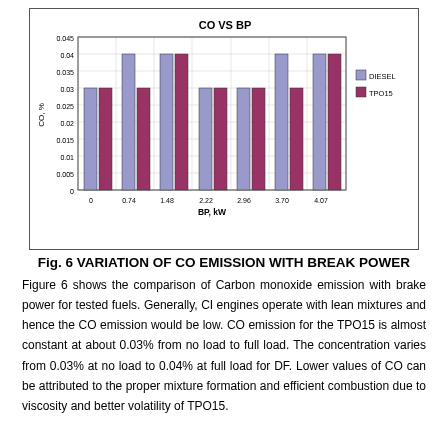[Figure (grouped-bar-chart): CO VS BP]
Fig. 6 VARIATION OF CO EMISSION WITH BREAK POWER
Figure 6 shows the comparison of Carbon monoxide emission with brake power for tested fuels. Generally, CI engines operate with lean mixtures and hence the CO emission would be low. CO emission for the TPO15 is almost constant at about 0.03% from no load to full load. The concentration varies from 0.03% at no load to 0.04% at full load for DF. Lower values of CO can be attributed to the proper mixture formation and efficient combustion due to viscosity and better volatility of TPO15.